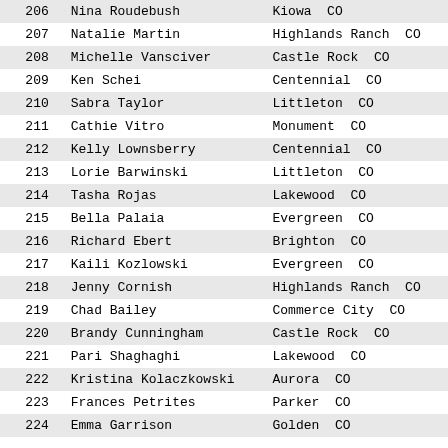| 206 | Nina Roudebush | Kiowa  CO |
| 207 | Natalie Martin | Highlands Ranch  CO |
| 208 | Michelle Vansciver | Castle Rock  CO |
| 209 | Ken Schei | Centennial  CO |
| 210 | Sabra Taylor | Littleton  CO |
| 211 | Cathie Vitro | Monument  CO |
| 212 | Kelly Lownsberry | Centennial  CO |
| 213 | Lorie Barwinski | Littleton  CO |
| 214 | Tasha Rojas | Lakewood  CO |
| 215 | Bella Palaia | Evergreen  CO |
| 216 | Richard Ebert | Brighton  CO |
| 217 | Kaili Kozlowski | Evergreen  CO |
| 218 | Jenny Cornish | Highlands Ranch  CO |
| 219 | Chad Bailey | Commerce City  CO |
| 220 | Brandy Cunningham | Castle Rock  CO |
| 221 | Pari Shaghaghi | Lakewood  CO |
| 222 | Kristina Kolaczkowski | Aurora  CO |
| 223 | Frances Petrites | Parker  CO |
| 224 | Emma Garrison | Golden  CO |